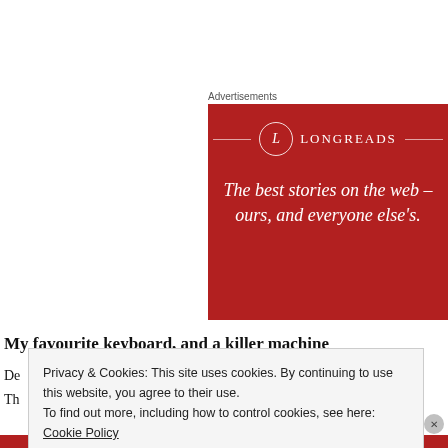Advertisements
[Figure (logo): Longreads advertisement banner with red background, circular L logo, brand name LONGREADS, and italic tagline: The best stories on the web – ours, and everyone else's.]
My favourite keyboard, and a killer machine
De
Th
Privacy & Cookies: This site uses cookies. By continuing to use this website, you agree to their use.
To find out more, including how to control cookies, see here: Cookie Policy
Close and accept